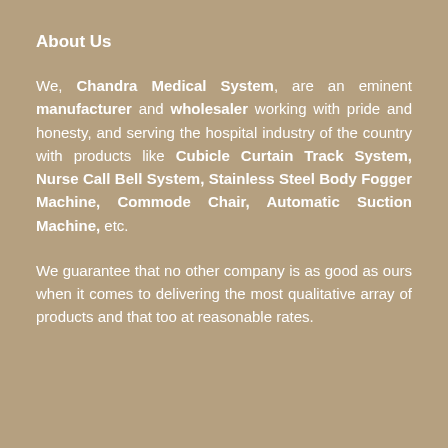About Us
We, Chandra Medical System, are an eminent manufacturer and wholesaler working with pride and honesty, and serving the hospital industry of the country with products like Cubicle Curtain Track System, Nurse Call Bell System, Stainless Steel Body Fogger Machine, Commode Chair, Automatic Suction Machine, etc.
We guarantee that no other company is as good as ours when it comes to delivering the most qualitative array of products and that too at reasonable rates.